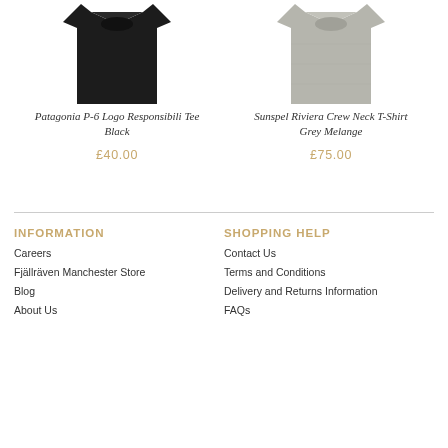[Figure (photo): Black t-shirt product photo - Patagonia P-6 Logo Responsibili Tee Black]
Patagonia P-6 Logo Responsibili Tee Black
£40.00
[Figure (photo): Grey melange t-shirt product photo - Sunspel Riviera Crew Neck T-Shirt Grey Melange]
Sunspel Riviera Crew Neck T-Shirt Grey Melange
£75.00
INFORMATION
Careers
Fjällräven Manchester Store
Blog
About Us
SHOPPING HELP
Contact Us
Terms and Conditions
Delivery and Returns Information
FAQs